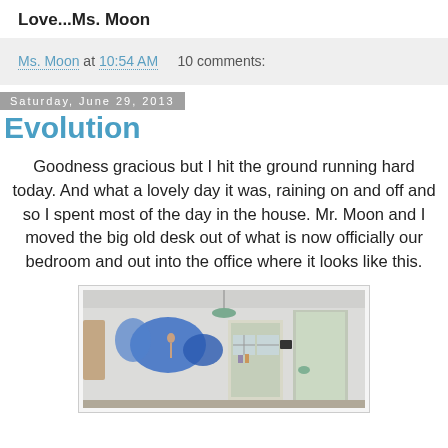Love...Ms. Moon
Ms. Moon at 10:54 AM    10 comments:
Saturday, June 29, 2013
Evolution
Goodness gracious but I hit the ground running hard today. And what a lovely day it was, raining on and off and so I spent most of the day in the house. Mr. Moon and I moved the big old desk out of what is now officially our bedroom and out into the office where it looks like this.
[Figure (photo): Interior room photo showing white walls, a pendant light, decorative wall hangings including a large blue butterfly/bird artwork, a window with light, and a doorway]